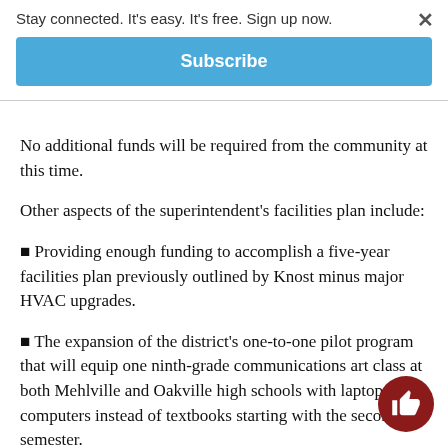Stay connected. It's easy. It's free. Sign up now.
Subscribe
No additional funds will be required from the community at this time.
Other aspects of the superintendent's facilities plan include:
❧ Providing enough funding to accomplish a five-year facilities plan previously outlined by Knost minus major HVAC upgrades.
❧ The expansion of the district's one-to-one pilot program that will equip one ninth-grade communications art class at both Mehlville and Oakville high schools with laptop computers instead of textbooks starting with the second semester.